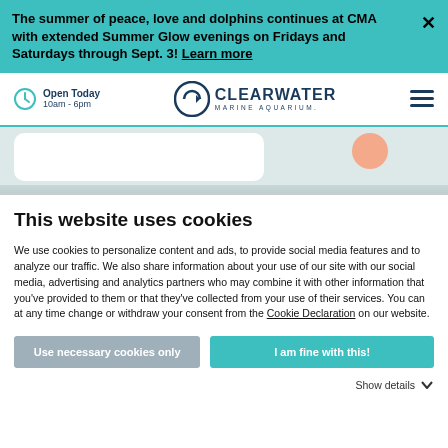The summer of peace, love and dolphins continues at CMA with extended Summer Glow evenings on Fridays and Saturdays through Sept. 3! Learn more
Open Today 10am - 6pm
[Figure (logo): Clearwater Marine Aquarium logo with circular arrow icon]
[Figure (illustration): Partial hero image with white card and decorative circle element]
This website uses cookies
We use cookies to personalize content and ads, to provide social media features and to analyze our traffic. We also share information about your use of our site with our social media, advertising and analytics partners who may combine it with other information that you've provided to them or that they've collected from your use of their services. You can at any time change or withdraw your consent from the Cookie Declaration on our website.
Use necessary cookies only
I am fine with this!
Show details